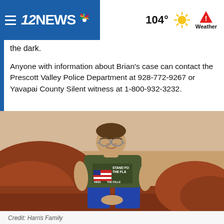12NEWS | 104° Weather
the dark.
Anyone with information about Brian's case can contact the Prescott Valley Police Department at 928-772-9267 or Yavapai County Silent witness at 1-800-932-3232.
[Figure (photo): Man sitting on red rocks outdoors, wearing a green t-shirt with 'STAND FOR THE FLAG' print, jeans, and glasses. Red rock landscape in the background.]
Credit: Harris Family